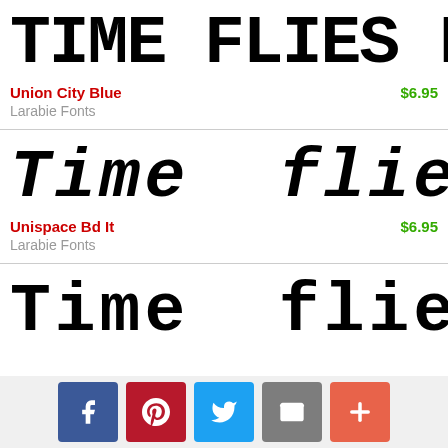[Figure (screenshot): Font preview showing 'TIME FLIES LIKE A' in Union City Blue font, large bold display text]
Union City Blue    $6.95
Larabie Fonts
[Figure (screenshot): Font preview showing 'Time flies lik' in Unispace Bd It font, large bold italic display text]
Unispace Bd It    $6.95
Larabie Fonts
[Figure (screenshot): Font preview showing 'Time flies lik' in a bold monospace font, large display text]
[Figure (infographic): Social sharing bar with Facebook, Pinterest, Twitter, Email, and More buttons]